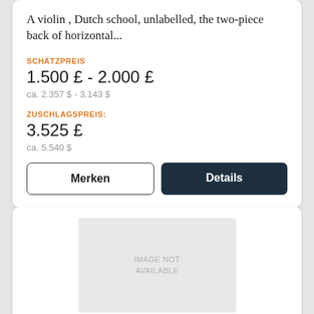A violin , Dutch school, unlabelled, the two-piece back of horizontal...
SCHÄTZPREIS
1.500 £ - 2.000 £
ca. 2.357 $ - 3.143 $
ZUSCHLAGSPREIS:
3.525 £
ca. 5.540 $
Merken
Details
[Figure (other): IMAGE NOT AVAILABLE placeholder rectangle]